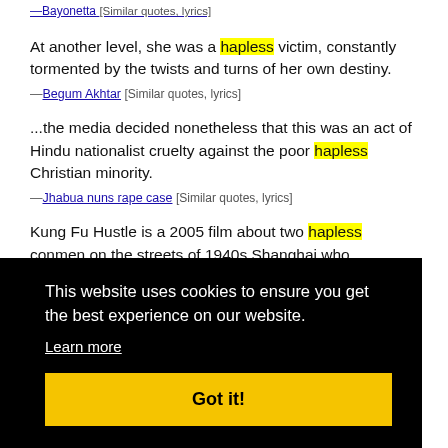— Bayonetta  [Similar quotes, lyrics]
At another level, she was a hapless victim, constantly tormented by the twists and turns of her own destiny.
—Begum Akhtar  [Similar quotes, lyrics]
...the media decided nonetheless that this was an act of Hindu nationalist cruelty against the poor hapless Christian minority.
—Jhabua nuns rape case  [Similar quotes, lyrics]
Kung Fu Hustle is a 2005 film about two hapless conmen on the streets of 1940s Shanghai who
[Figure (screenshot): Cookie consent banner overlay with black background. Text reads: 'This website uses cookies to ensure you get the best experience on our website.' with a 'Learn more' link and a yellow 'Got it!' button.]